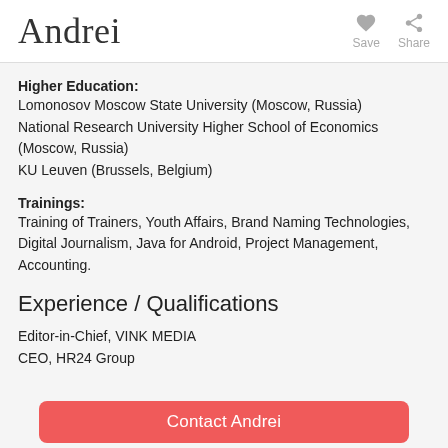Andrei
Higher Education:
Lomonosov Moscow State University (Moscow, Russia)
National Research University Higher School of Economics (Moscow, Russia)
KU Leuven (Brussels, Belgium)
Trainings:
Training of Trainers, Youth Affairs, Brand Naming Technologies, Digital Journalism, Java for Android, Project Management, Accounting.
Experience / Qualifications
Editor-in-Chief, VINK MEDIA
CEO, HR24 Group
Contact Andrei